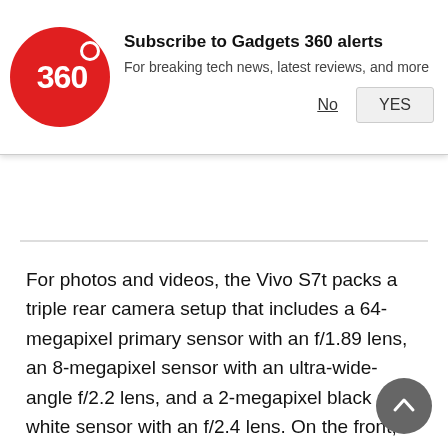[Figure (logo): Gadgets 360 logo - red circle with '360' text and a red dot at top right]
Subscribe to Gadgets 360 alerts
For breaking tech news, latest reviews, and more
No   YES
For photos and videos, the Vivo S7t packs a triple rear camera setup that includes a 64-megapixel primary sensor with an f/1.89 lens, an 8-megapixel sensor with an ultra-wide-angle f/2.2 lens, and a 2-megapixel black and white sensor with an f/2.4 lens. On the front, there is a 44-megapixel sensor with an f/2.0 lens and an 8-megapixel sensor with an ultra-wide-angle f/2.28 lens.
For storage, the Vivo S7t comes with 128GB of UFS 2.1 onboard storage. Connectivity options include dual-band Wi-Fi, 5G, Bluetooth 5.1, GPS, and a USB Type-C port for charging. There is an in-display fingerprint